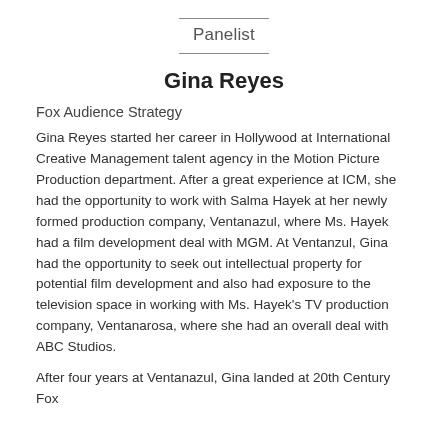Panelist
Gina Reyes
Fox Audience Strategy
Gina Reyes started her career in Hollywood at International Creative Management talent agency in the Motion Picture Production department. After a great experience at ICM, she had the opportunity to work with Salma Hayek at her newly formed production company, Ventanazul, where Ms. Hayek had a film development deal with MGM. At Ventanzul, Gina had the opportunity to seek out intellectual property for potential film development and also had exposure to the television space in working with Ms. Hayek's TV production company, Ventanarosa, where she had an overall deal with ABC Studios.
After four years at Ventanazul, Gina landed at 20th Century Fox